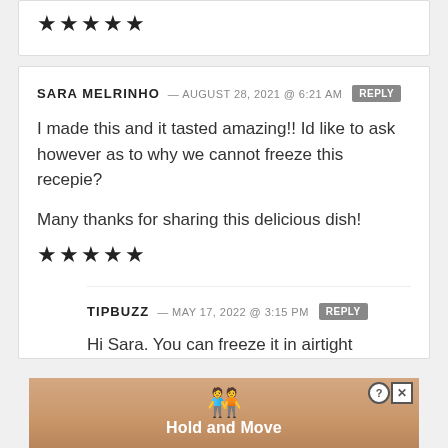[Figure (other): Five black filled star rating icons in a row]
SARA MELRINHO — AUGUST 28, 2021 @ 6:21 AM [REPLY]
I made this and it tasted amazing!! Id like to ask however as to why we cannot freeze this recepie?
Many thanks for sharing this delicious dish!
[Figure (other): Five black filled star rating icons in a row]
TIPBUZZ — MAY 17, 2022 @ 3:15 PM [REPLY]
Hi Sara. You can freeze it in airtight
[Figure (other): Advertisement banner for 'Hold and Move' app with two character icons]